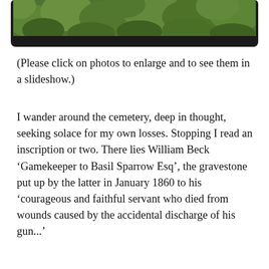[Figure (photo): Partial view of a framed photograph showing green foliage/trees, with black border/frame, cropped at top of page.]
(Please click on photos to enlarge and to see them in a slideshow.)
I wander around the cemetery, deep in thought, seeking solace for my own losses. Stopping I read an inscription or two. There lies William Beck ‘Gamekeeper to Basil Sparrow Esq’, the gravestone put up by the latter in January 1860 to his ‘courageous and faithful servant who died from wounds caused by the accidental discharge of his gun...’